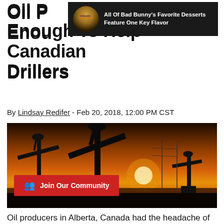Oil Price Rally Not Big Enough To Help Canadian Drillers
[Figure (other): Advertisement banner with person wearing orange-tinted sunglasses on dark background, text: All Of Bad Bunny's Favorite Desserts Feature One Key Flavor]
By Lindsay Redifer - Feb 20, 2018, 12:00 PM CST
[Figure (photo): Oil pump jacks silhouetted against an orange sunset sky, with a red Join Our Community button overlay]
Oil producers in Alberta, Canada had the headache of high supply next to thin margins this week, but a quick price rally brought a moment of relief — though experts don't expect it to last.